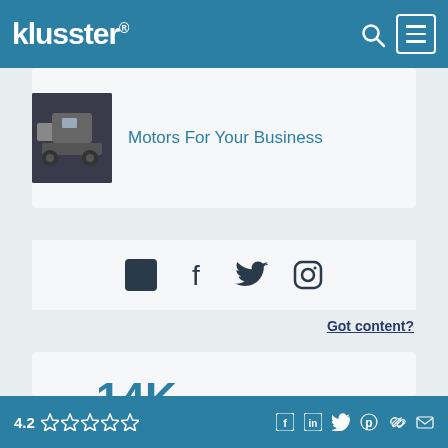klusster®
Motors For Your Business
[Figure (other): Social media icons: Facebook, Twitter, Instagram]
Got content?
Over 14K views of this Author's content on Klusster.
Host your content on Klusster and reach more people through the power
4.2 stars — social share icons: Facebook, LinkedIn, Twitter, Pinterest, link, email